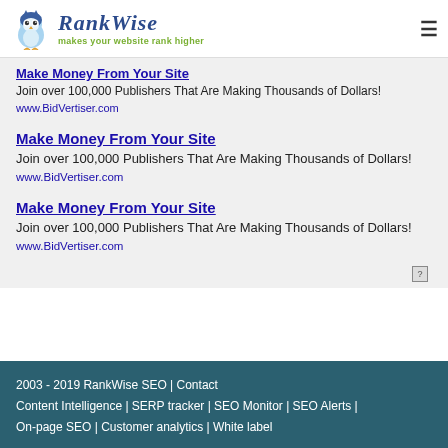RankWise — makes your website rank higher
Make Money From Your Site
Join over 100,000 Publishers That Are Making Thousands of Dollars!
www.BidVertiser.com
Make Money From Your Site
Join over 100,000 Publishers That Are Making Thousands of Dollars!
www.BidVertiser.com
Make Money From Your Site
Join over 100,000 Publishers That Are Making Thousands of Dollars!
www.BidVertiser.com
2003 - 2019 RankWise SEO | Contact
Content Intelligence | SERP tracker | SEO Monitor | SEO Alerts |
On-page SEO | Customer analytics | White label